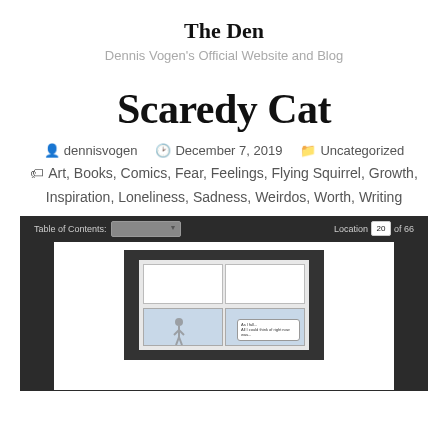The Den
Dennis Vogen's Official Website and Blog
Scaredy Cat
dennisvogen   December 7, 2019   Uncategorized
Art, Books, Comics, Fear, Feelings, Flying Squirrel, Growth, Inspiration, Loneliness, Sadness, Weirdos, Worth, Writing
[Figure (photo): A photo of an e-reader or tablet displaying a comic book page titled 'Scaredy Cat'. The device shows a Table of Contents dropdown and a location indicator showing '20 of 66'. The comic page displayed contains panels with illustrated characters and speech bubbles.]